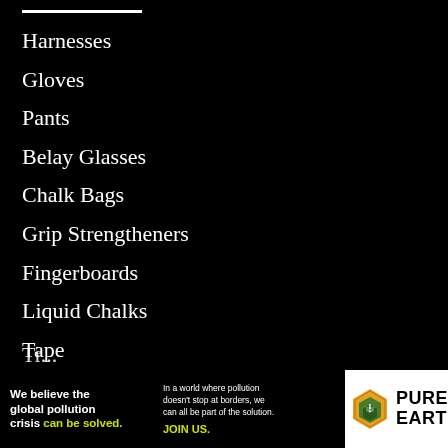Harnesses
Gloves
Pants
Belay Glasses
Chalk Bags
Grip Strengtheners
Fingerboards
Liquid Chalks
Tape
[Figure (illustration): Pure Earth advertisement banner at bottom of page. Black left section with bold white text reading 'We believe the global pollution crisis can be solved.' with 'can be solved.' in yellow-green. Middle black section with small white text 'In a world where pollution doesn't stop at borders, we can all be part of the solution.' and yellow-green 'JOIN US.' Right white section with Pure Earth logo (diamond/shield shape in orange and green) and bold black text 'PURE EARTH'.]